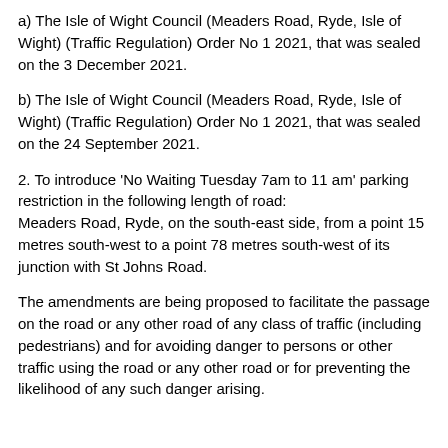a) The Isle of Wight Council (Meaders Road, Ryde, Isle of Wight) (Traffic Regulation) Order No 1 2021, that was sealed on the 3 December 2021.
b) The Isle of Wight Council (Meaders Road, Ryde, Isle of Wight) (Traffic Regulation) Order No 1 2021, that was sealed on the 24 September 2021.
2. To introduce 'No Waiting Tuesday 7am to 11am' parking restriction in the following length of road:
Meaders Road, Ryde, on the south-east side, from a point 15 metres south-west to a point 78 metres south-west of its junction with St Johns Road.
The amendments are being proposed to facilitate the passage on the road or any other road of any class of traffic (including pedestrians) and for avoiding danger to persons or other traffic using the road or any other road or for preventing the likelihood of any such danger arising.